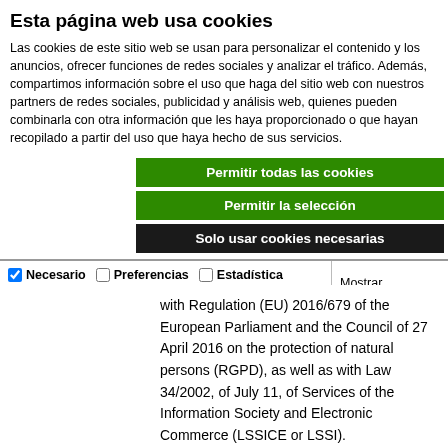Esta página web usa cookies
Las cookies de este sitio web se usan para personalizar el contenido y los anuncios, ofrecer funciones de redes sociales y analizar el tráfico. Además, compartimos información sobre el uso que haga del sitio web con nuestros partners de redes sociales, publicidad y análisis web, quienes pueden combinarla con otra información que les haya proporcionado o que hayan recopilado a partir del uso que haya hecho de sus servicios.
Permitir todas las cookies
Permitir la selección
Solo usar cookies necesarias
| Necesario | Preferencias | Estadística | Mostrar detalles |
| --- | --- | --- | --- |
| ✓ |  |  |  |
| Marketing |  |  |  |
with Regulation (EU) 2016/679 of the European Parliament and the Council of 27 April 2016 on the protection of natural persons (RGPD), as well as with Law 34/2002, of July 11, of Services of the Information Society and Electronic Commerce (LSSICE or LSSI).